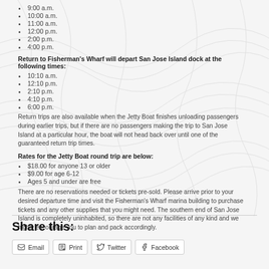9:00 a.m.
10:00 a.m.
11:00 a.m.
12:00 p.m.
2:00 p.m.
4:00 p.m.
Return to Fisherman's Wharf will depart San Jose Island dock at the following times:
10:10 a.m.
12:10 p.m.
2:10 p.m.
4:10 p.m.
6:00 p.m.
Return trips are also available when the Jetty Boat finishes unloading passengers during earlier trips, but if there are no passengers making the trip to San Jose Island at a particular hour, the boat will not head back over until one of the guaranteed return trip times.
Rates for the Jetty Boat round trip are below:
$18.00 for anyone 13 or older
$9.00 for age 6-12
Ages 5 and under are free
There are no reservations needed or tickets pre-sold. Please arrive prior to your desired departure time and visit the Fisherman's Wharf marina building to purchase tickets and any other supplies that you might need. The southern end of San Jose Island is completely uninhabited, so there are not any facilities of any kind and we highly encourage you to plan and pack accordingly.
Share this:
Email | Print | Twitter | Facebook